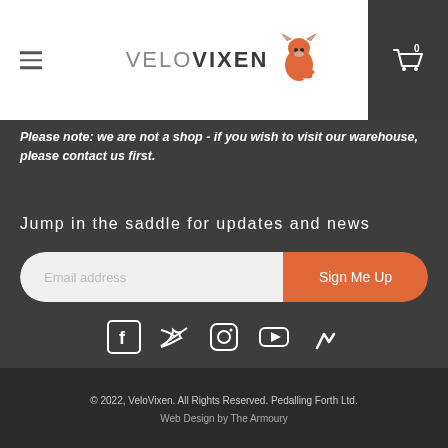[Figure (logo): VeloVixen logo with orange fox icon and text 'VELOVIXEN']
Please note: we are not a shop - if you wish to visit our warehouse, please contact us first.
Jump in the saddle for updates and news
[Figure (screenshot): Email signup form with 'Email address' field and 'Sign Me Up' orange button]
[Figure (infographic): Social media icons: Facebook, Twitter, Instagram, YouTube, Strava]
© 2022, VeloVixen. All Rights Reserved. Pedalling Forth Ltd.
Web Design by The Armoury